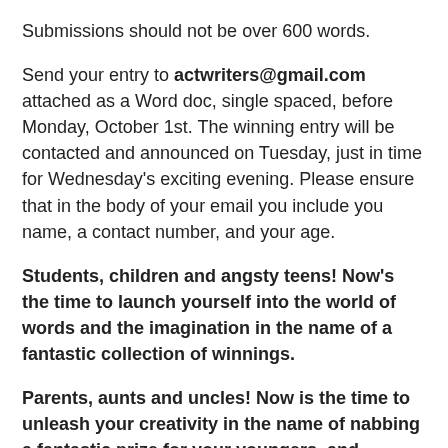Submissions should not be over 600 words.
Send your entry to actwriters@gmail.com attached as a Word doc, single spaced, before Monday, October 1st. The winning entry will be contacted and announced on Tuesday, just in time for Wednesday's exciting evening. Please ensure that in the body of your email you include you name, a contact number, and your age.
Students, children and angsty teens! Now's the time to launch yourself into the world of words and the imagination in the name of a fantastic collection of winnings.
Parents, aunts and uncles! Now is the time to unleash your creativity in the name of nabbing a fantastic prize for your youngers, and delighting in a bit of your own